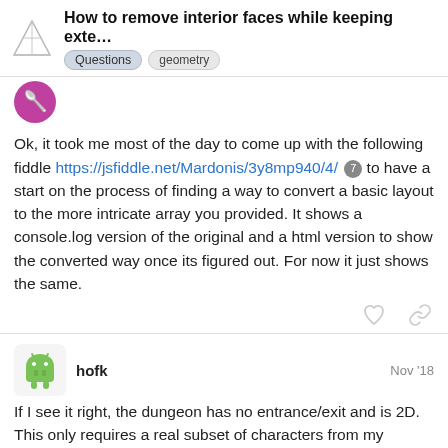How to remove interior faces while keeping exte... | Questions | geometry
Ok, it took me most of the day to come up with the following fiddle https://jsfiddle.net/Mardonis/3y8mp940/4/ 7 to have a start on the process of finding a way to convert a basic layout to the more intricate array you provided. It shows a console.log version of the original and a html version to show the converted way once its figured out. For now it just shows the same.
hofk Nov '18
If I see it right, the dungeon has no entrance/exit and is 2D. This only requires a real subset of characters from my definition field.
This makes things easier.
I converted your definition with the # chara
29 / 33